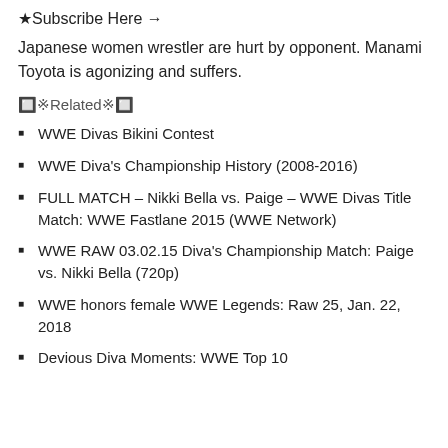★Subscribe Here →
Japanese women wrestler are hurt by opponent. Manami Toyota is agonizing and suffers.
🔲※Related※🔲
WWE Divas Bikini Contest
WWE Diva's Championship History (2008-2016)
FULL MATCH – Nikki Bella vs. Paige – WWE Divas Title Match: WWE Fastlane 2015 (WWE Network)
WWE RAW 03.02.15 Diva's Championship Match: Paige vs. Nikki Bella (720p)
WWE honors female WWE Legends: Raw 25, Jan. 22, 2018
Devious Diva Moments: WWE Top 10